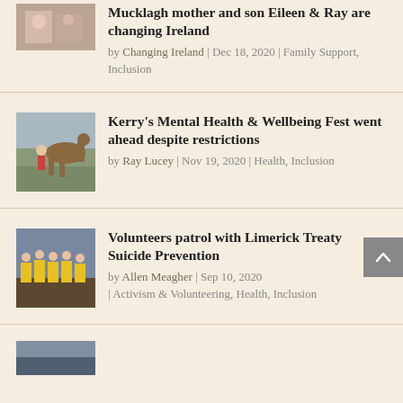Mucklagh mother and son Eileen & Ray are changing Ireland by Changing Ireland | Dec 18, 2020 | Family Support, Inclusion
Kerry's Mental Health & Wellbeing Fest went ahead despite restrictions by Ray Lucey | Nov 19, 2020 | Health, Inclusion
Volunteers patrol with Limerick Treaty Suicide Prevention by Allen Meagher | Sep 10, 2020 | Activism & Volunteering, Health, Inclusion
(partial fourth item)